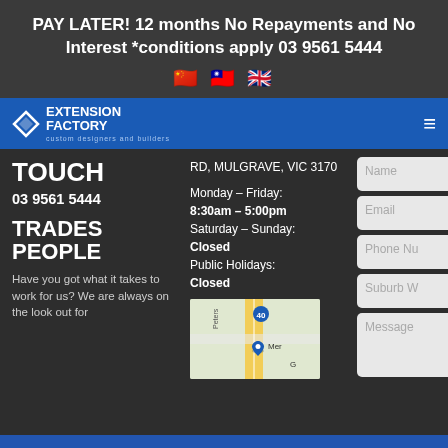PAY LATER! 12 months No Repayments and No Interest *conditions apply 03 9561 5444
[Figure (illustration): Three country flags: China, Taiwan, United Kingdom]
Extension Factory — custom designers and builders
TOUCH
03 9561 5444
TRADES PEOPLE
Have you got what it takes to work for us? We are always on the look out for
RD, MULGRAVE, VIC 3170
Monday – Friday:
8:30am – 5:00pm
Saturday – Sunday:
Closed
Public Holidays:
Closed
[Figure (map): Google Maps snippet showing location in Mulgrave area with blue pin marker]
Name
Email
Phone Nu
Suburb W
Message
Need Answers or Advice?